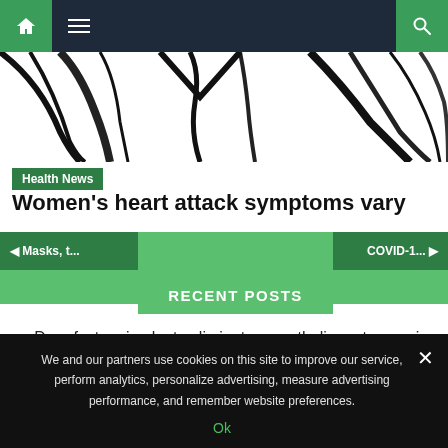Navigation bar with home, menu, and search icons
[Figure (illustration): Partial illustration of medical stethoscope and doctor figure in black and white line art]
Health News
Women’s heart attack symptoms vary
RECENT POSTS
Drug factory implants eliminate mesothelioma tumors in mice
We and our partners use cookies on this site to improve our service, perform analytics, personalize advertising, measure advertising performance, and remember website preferences.
Ok